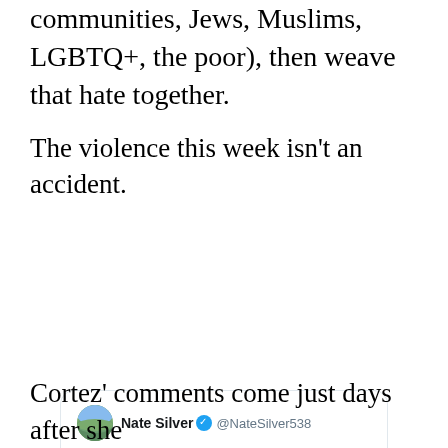communities, Jews, Muslims, LGBTQ+, the poor), then weave that hate together.
The violence this week isn't an accident.
[Figure (screenshot): Embedded tweet from Nate Silver (@NateSilver538) with verified badge. Tweet text: 'Thread. A guest on Lou Dobbs's show on Fox News is pushing a version of the same conspiracy that the Pittsburgh shooter evidently believed in and which may have helped trigger the murders he committed. Been trying not to weigh in on events of the day but this is really dangerous.' Posted at 2:05 AM · Oct 28, 2018. 13.6K likes, Reply, Copy link, Read 1.2K replies.]
Cortez' comments come just days after she